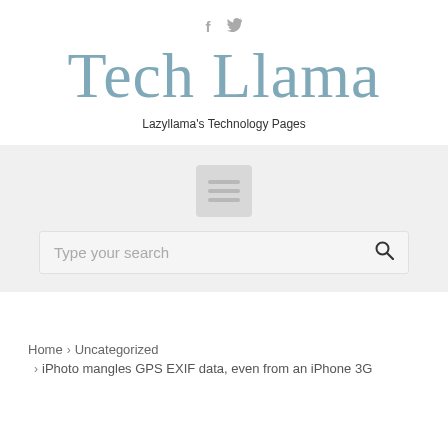[Figure (logo): Social media icons: Facebook (f) and Twitter (bird) in gray]
Tech Llama
Lazyllama's Technology Pages
[Figure (other): Menu/hamburger icon in a rounded rectangle box on gray background]
Type your search
Home > Uncategorized > iPhoto mangles GPS EXIF data, even from an iPhone 3G